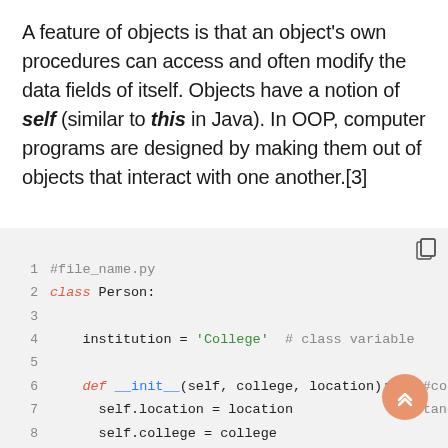A feature of objects is that an object's own procedures can access and often modify the data fields of itself. Objects have a notion of self (similar to this in Java). In OOP, computer programs are designed by making them out of objects that interact with one another.[3]
[Figure (screenshot): Python code snippet showing a class definition for 'Person' with class variable 'institution', constructor __init__ with self, college, location parameters, instance variables self.location and self.college, and a method set_college.]